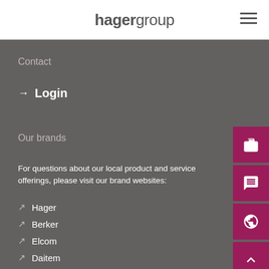hagergroup
Contact
→ Login
Our brands
For questions about our local product and service offerings, please visit our brand websites:
↗ Hager
↗ Berker
↗ Elcom
↗ Daitem
↗ Diagral